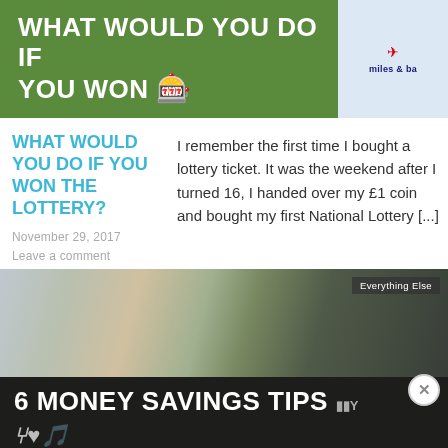[Figure (photo): Green banner with white bold text reading WHAT WOULD YOU DO IF YOU WON, with a decorative element and a partial airline miles credit card ad on the right]
WHAT WOULD YOU DO IF YOU WON THE LOTTERY?
I remember the first time I bought a lottery ticket. It was the weekend after I turned 16, I handed over my £1 coin and bought my first National Lottery [...]
November 29, 2017
Leave a comment
[Figure (photo): Photo of kitchen items including jars and vegetables with a dark overlay bar reading 6 MONEY SAVINGS TIPS and an Everything Else tag in the top right corner]
Advertisements
[Figure (infographic): WooCommerce advertisement banner: purple block with WooCommerce logo, teal arrow, text reading How to start selling subscriptions online, orange and blue leaf decorations]